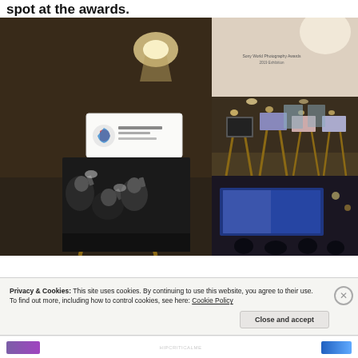spot at the awards.
[Figure (photo): Collage of four photos from a photography awards exhibition: left large photo shows a black-and-white image of people raising phones/cameras, displayed on an easel with a label card; top-right shows a cream/beige wall with 'Sony World Photography Awards 2019 Exhibition' text; middle-right shows multiple easels with photos in an exhibition hall; bottom-right shows a dark scene with a screen.]
Privacy & Cookies: This site uses cookies. By continuing to use this website, you agree to their use.
To find out more, including how to control cookies, see here: Cookie Policy
Close and accept